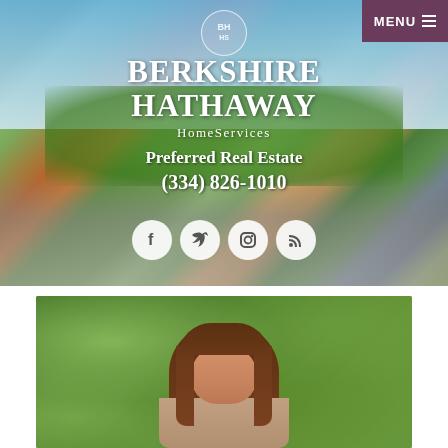[Figure (screenshot): Berkshire Hathaway HomeServices Preferred Real Estate website header with aerial photo of a town with red brick buildings, green park area, and roads. Features the company logo, name, phone number (334) 826-1010, and social media icons for Facebook, Twitter, Instagram, and RSS.]
MENU
BERKSHIRE HATHAWAY HomeServices Preferred Real Estate (334) 826-1010
[Figure (photo): Portrait photo of a woman with brown hair against a blurred green leafy background]